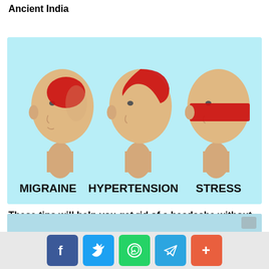How to cure burns with Ayurveda used in Ancient India
[Figure (illustration): Medical infographic showing three bald human heads in profile (side view) with red highlighted areas indicating different headache types: MIGRAINE (red oval on temple/forehead area), HYPERTENSION (red area on top/side of head), STRESS (red band across back of head). Background is light blue/cyan.]
These tips will help you get rid of a headache without using pills
[Figure (photo): Partial image at bottom of page, appears to be a photograph with light blue tones.]
[Figure (infographic): Social media share buttons: Facebook (f), Twitter (bird), WhatsApp (phone), Telegram (paper plane), More (+)]